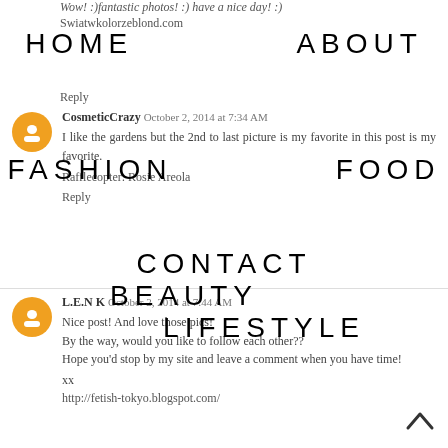Wow! :) fantastic photos! :) have a nice day! :)
Swiatwkolorzeblond.com
Reply
HOME   ABOUT   FASHION   FOOD   BEAUTY   LIFESTYLE   CONTACT
CosmeticCrazy  October 2, 2014 at 7:34 AM
I like the gardens but the 2nd to last picture is my favorite in this post is my favorite.
Rafflecopter: Rosie Areola
Reply
L.E.N K  October 2, 2014 at 7:44 AM
Nice post! And love those pics!
By the way, would you like to follow each other??
Hope you'd stop by my site and leave a comment when you have time!
xx
http://fetish-tokyo.blogspot.com/